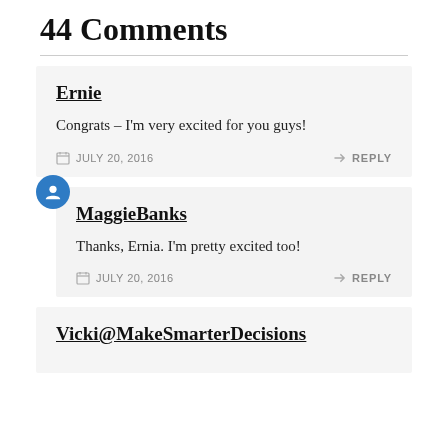44 Comments
Ernie
Congrats – I'm very excited for you guys!
JULY 20, 2016  REPLY
MaggieBanks
Thanks, Ernia. I'm pretty excited too!
JULY 20, 2016  REPLY
Vicki@MakeSmarterDecisions